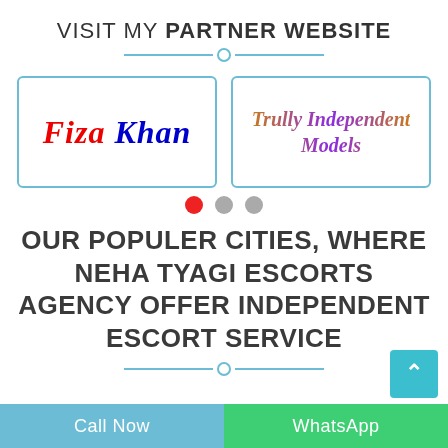VISIT MY PARTNER WEBSITE
[Figure (infographic): Two partner website cards side by side: left card shows 'Fiza Khan' in italic red and blue text, right card shows 'Trully Independent Models' in italic gradient brown-purple text. Both cards have light blue borders.]
OUR POPULER CITIES, WHERE NEHA TYAGI ESCORTS AGENCY OFFER INDEPENDENT ESCORT SERVICE
Call Now | WhatsApp